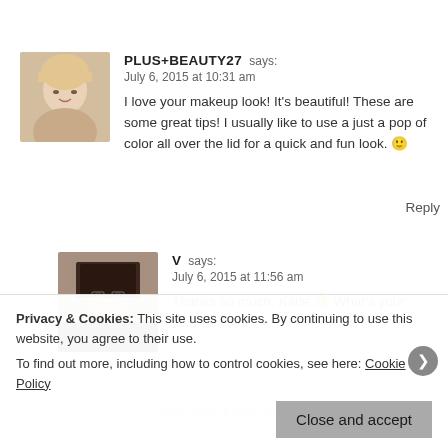[Figure (photo): Avatar photo of a blonde woman]
PLUS+BEAUTY27 says:
July 6, 2015 at 10:31 am

I love your makeup look! It's beautiful! These are some great tips! I usually like to use a just a pop of color all over the lid for a quick and fun look. 🙂
Reply
[Figure (photo): Avatar photo of a dark-haired woman with glasses]
V says:
July 6, 2015 at 11:56 am

Thanks so much, Katie 🙂 What's your favorite color to put on your lids?
Privacy & Cookies: This site uses cookies. By continuing to use this website, you agree to their use.
To find out more, including how to control cookies, see here: Cookie Policy
Close and accept